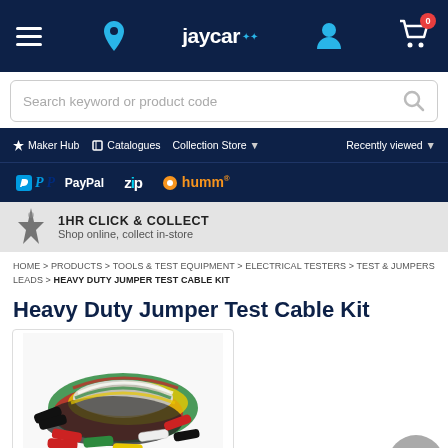jaycar — navigation header with hamburger menu, location icon, user icon, cart (0)
Search keyword or product code
Maker Hub | Catalogues | Collection Store ▼ | Recently viewed ▼
[Figure (logo): Payment logos: PayPal, Zip, humm]
1HR CLICK & COLLECT — Shop online, collect in-store
HOME > PRODUCTS > TOOLS & TEST EQUIPMENT > ELECTRICAL TESTERS > TEST & JUMPERS LEADS > HEAVY DUTY JUMPER TEST CABLE KIT
Heavy Duty Jumper Test Cable Kit
[Figure (photo): Photo of heavy duty jumper test cable kit — multiple coloured alligator clip cables bundled together in red, black, green, yellow, white colours]